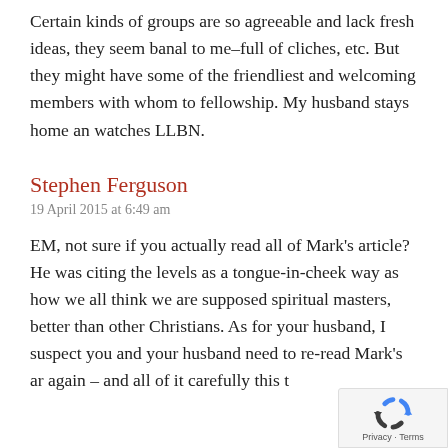Certain kinds of groups are so agreeable and lack fresh ideas, they seem banal to me–full of cliches, etc. But they might have some of the friendliest and welcoming members with whom to fellowship. My husband stays home an watches LLBN.
Stephen Ferguson
19 April 2015 at 6:49 am
EM, not sure if you actually read all of Mark's article? He was citing the levels as a tongue-in-cheek way as how we all think we are supposed spiritual masters, better than other Christians. As for your husband, I suspect you and your husband need to re-read Mark's ar again – and all of it carefully this t